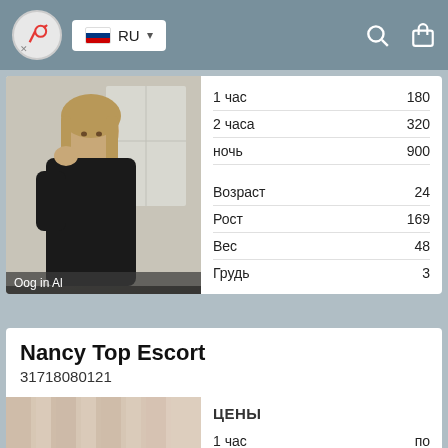RU
|  |  |
| --- | --- |
| 1 час | 180 |
| 2 часа | 320 |
| ночь | 900 |
| Возраст | 24 |
| Рост | 169 |
| Вес | 48 |
| Грудь | 3 |
[Figure (photo): Woman in black turtleneck sitting thoughtfully with hand near face]
Oog in Al
Nancy Top Escort
31718080121
[Figure (photo): Blurred curtains/drapes background photo]
|  |  |
| --- | --- |
| ЦЕНЫ |  |
| 1 час | по |
| 2 часа | 320 |
| ночь | по |